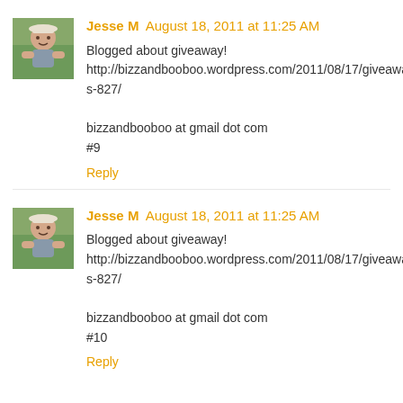[Figure (photo): Avatar photo of Jesse M - woman in white hat outdoors]
Jesse M August 18, 2011 at 11:25 AM
Blogged about giveaway! http://bizzandbooboo.wordpress.com/2011/08/17/giveaways-827/

bizzandbooboo at gmail dot com
#9
Reply
[Figure (photo): Avatar photo of Jesse M - woman in white hat outdoors]
Jesse M August 18, 2011 at 11:25 AM
Blogged about giveaway! http://bizzandbooboo.wordpress.com/2011/08/17/giveaways-827/

bizzandbooboo at gmail dot com
#10
Reply